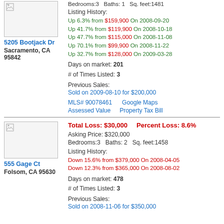[Figure (photo): Property photo placeholder for 5205 Bootjack Dr (broken image icon)]
5205 Bootjack Dr
Sacramento, CA 95842
Bedrooms:3   Baths: 1   Sq. feet:1481
Listing History:
Up 6.3% from $159,900 On 2008-09-20
Up 41.7% from $119,900 On 2008-10-18
Up 47.7% from $115,000 On 2008-11-08
Up 70.1% from $99,900 On 2008-11-22
Up 32.7% from $128,000 On 2009-03-28
Days on market: 201
# of Times Listed: 3
Previous Sales:
Sold on 2009-08-10 for $200,000
MLS# 90078461    Google Maps
Assessed Value    Property Tax Bill
[Figure (photo): Property photo placeholder for 555 Gage Ct (broken image icon)]
Total Loss: $30,000    Percent Loss: 8.6%
Asking Price: $320,000
Bedrooms:3   Baths: 2   Sq. feet:1458
Listing History:
Down 15.6% from $379,000 On 2008-04-05
Down 12.3% from $365,000 On 2008-08-02
Days on market: 478
# of Times Listed: 3
Previous Sales:
555 Gage Ct
Folsom, CA 95630
Sold on 2008-11-06 for $350,000